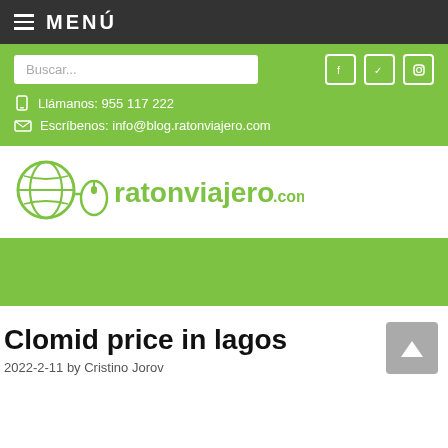≡ MENÚ
Buscar...
Llámanos: 955 117 222
Escríbenos: info@blog.ratonviajero.com
[Figure (logo): ratonviajero.com logo with globe and mouse icon in green]
Clomid price in lagos
2022-2-11 by Cristino Jorov